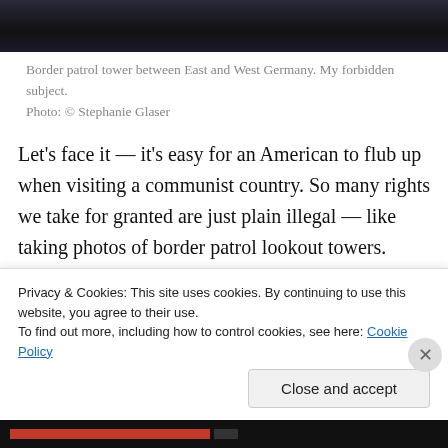[Figure (photo): Dark photograph of a border patrol tower between East and West Germany, shown at top of page as a cropped strip.]
Border patrol tower between East and West Germany. My forbidden subject.
Photo: © Stephanie Glaser
Let's face it — it's easy for an American to flub up when visiting a communist country. So many rights we take for granted are just plain illegal — like taking photos of border patrol lookout towers. Actually, this is probably frowned upon in the US, too.
Definitely happened in East Germany in the late 1980…
Privacy & Cookies: This site uses cookies. By continuing to use this website, you agree to their use.
To find out more, including how to control cookies, see here: Cookie Policy
Close and accept